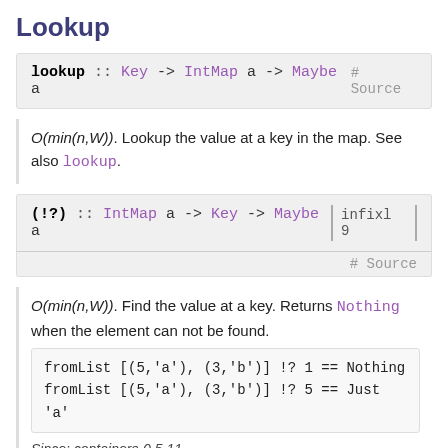Lookup
lookup :: Key -> IntMap a -> Maybe a   # Source
O(min(n,W)). Lookup the value at a key in the map. See also lookup.
(!?) :: IntMap a -> Key -> Maybe a   infixl 9   # Source
O(min(n,W)). Find the value at a key. Returns Nothing when the element can not be found.
fromList [(5,'a'), (3,'b')] !? 1 == Nothing
fromList [(5,'a'), (3,'b')] !? 5 == Just 'a'
Since: containers-0.5.11
(!) :: IntMap a -> Key -> a   # Source
O(min(n,W)). Find the value at a key. Calls error when the